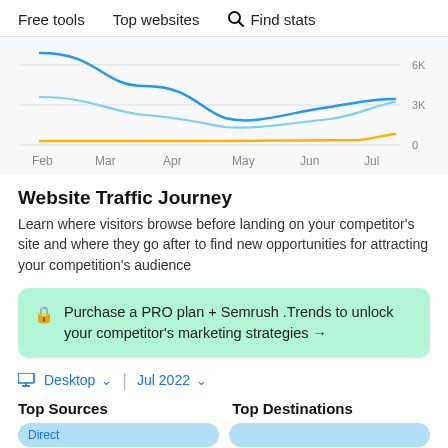Free tools   Top websites   Find stats
[Figure (line-chart): ]
Website Traffic Journey
Learn where visitors browse before landing on your competitor's site and where they go after to find new opportunities for attracting your competition's audience
Purchase a PRO plan + Semrush .Trends to unlock your competitor's marketing strategies →
Desktop ∨   Jul 2022 ∨
Top Sources
Top Destinations